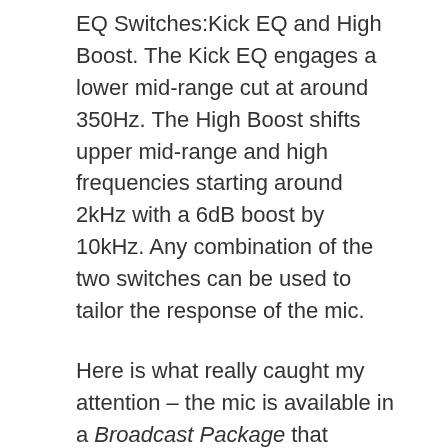EQ Switches:Kick EQ and High Boost. The Kick EQ engages a lower mid-range cut at around 350Hz. The High Boost shifts upper mid-range and high frequencies starting around 2kHz with a 6dB boost by 10kHz. Any combination of the two switches can be used to tailor the response of the mic.
Here is what really caught my attention – the mic is available in a Broadcast Package that includes the M786 Broadcast Boom with built in XLR cable, the M700 Shock Mount, and a protective case. Currently the M82 Broadcast Package retails for $499.00 at BSW.
The Hybrid
As for all...